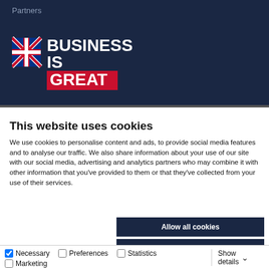Partners
[Figure (logo): Business Is Great Britain logo with Union Jack flag icon, red background on GREAT text]
This website uses cookies
We use cookies to personalise content and ads, to provide social media features and to analyse our traffic. We also share information about your use of our site with our social media, advertising and analytics partners who may combine it with other information that you've provided to them or that they've collected from your use of their services.
Allow all cookies
Allow selection
Use necessary cookies only
Necessary  Preferences  Statistics  Marketing  Show details